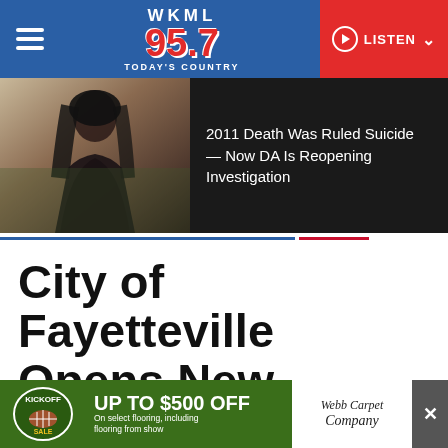WKML 95.7 Today's Country — LISTEN
[Figure (photo): News article banner with photo of a woman in formal attire and dark hair, next to headline text on dark background]
2011 Death Was Ruled Suicide — Now DA Is Reopening Investigation
City of Fayetteville Opens New Splash Pad at Lake Rim Rec Center
[Figure (infographic): Advertisement banner: Kickoff Sale — UP TO $500 OFF on select flooring, including flooring from show — Webb Carpet Company, with close button (X)]